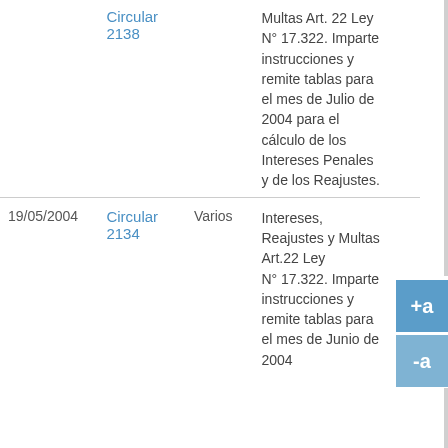| Fecha | Documento | Categoría | Descripción |
| --- | --- | --- | --- |
|  | Circular 2138 |  | Multas Art. 22 Ley N° 17.322. Imparte instrucciones y remite tablas para el mes de Julio de 2004 para el cálculo de los Intereses Penales y de los Reajustes. |
| 19/05/2004 | Circular 2134 | Varios | Intereses, Reajustes y Multas Art.22 Ley N° 17.322. Imparte instrucciones y remite tablas para el mes de Junio de 2004 |